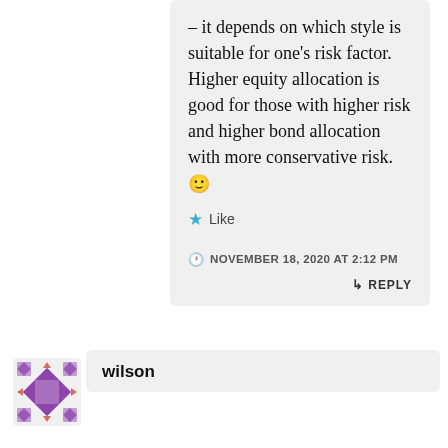– it depends on which style is suitable for one's risk factor. Higher equity allocation is good for those with higher risk and higher bond allocation with more conservative risk. 🙂
★ Like
NOVEMBER 18, 2020 AT 2:12 PM
↳ REPLY
[Figure (illustration): Purple geometric quilt-pattern avatar icon for user wilson]
wilson